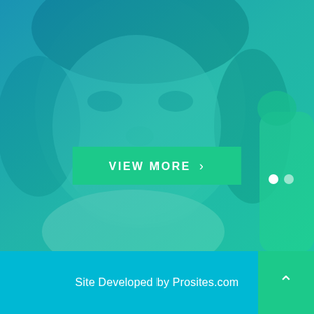[Figure (photo): A smiling young child with curly hair, overlaid with a teal/green-blue gradient. A green toy or object is visible in the upper right corner. Slider navigation dots appear at the right side.]
VIEW MORE  ›
Site Developed by Prosites.com